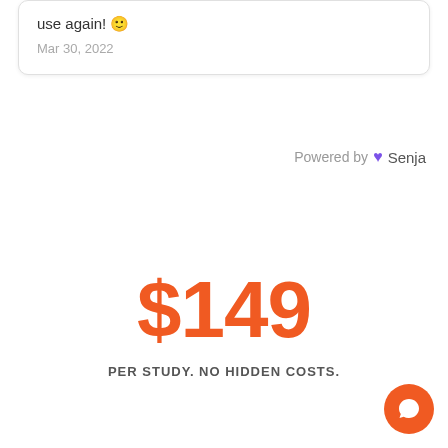use again! 🙂
Mar 30, 2022
Powered by 💜 Senja
$149
PER STUDY. NO HIDDEN COSTS.